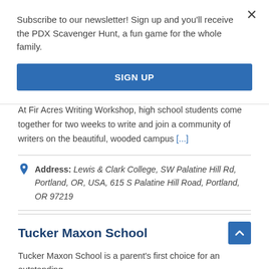Subscribe to our newsletter! Sign up and you'll receive the PDX Scavenger Hunt, a fun game for the whole family.
SIGN UP
At Fir Acres Writing Workshop, high school students come together for two weeks to write and join a community of writers on the beautiful, wooded campus [...]
Address: Lewis & Clark College, SW Palatine Hill Rd, Portland, OR, USA, 615 S Palatine Hill Road, Portland, OR 97219
Tucker Maxon School
Tucker Maxon School is a parent's first choice for an outstanding